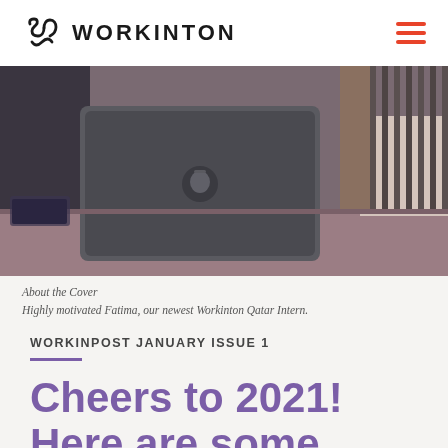WORKINTON (logo) | hamburger menu
[Figure (photo): A MacBook laptop on a desk in a coworking office environment, seen from behind, with a person in a knit sweater and vertical-slat partition in the background.]
About the Cover
Highly motivated Fatima, our newest Workinton Qatar Intern.
WORKINPOST JANUARY ISSUE 1
Cheers to 2021! Here are some insights to spark